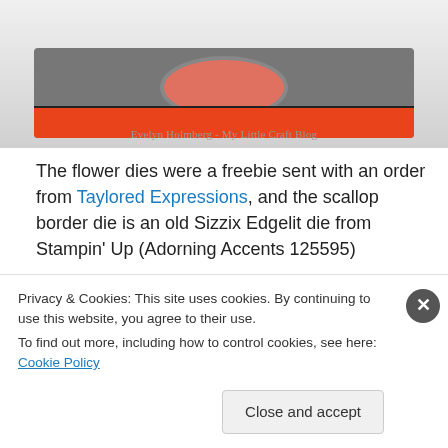[Figure (photo): Top portion of a craft card photo showing an orange and gray design with a circular element, watermarked 'Evelyn Holmberg - My Little Craft Blog']
The flower dies were a freebie sent with an order from Taylored Expressions, and the scallop border die is an old Sizzix Edgelit die from Stampin' Up (Adorning Accents 125595)
[Figure (photo): Bottom portion of a craft card photo on a gold/olive background showing green and red color strips]
Privacy & Cookies: This site uses cookies. By continuing to use this website, you agree to their use.
To find out more, including how to control cookies, see here: Cookie Policy
Close and accept